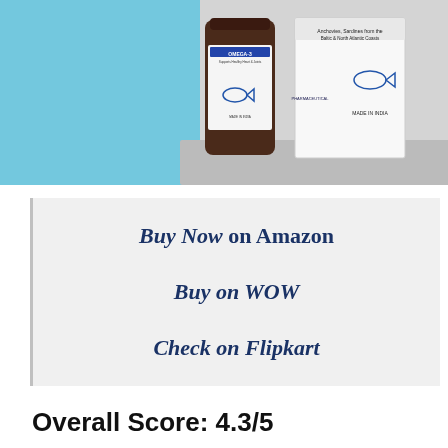[Figure (photo): Product image of Omega-3 supplement bottle against a blue and grey background, showing two bottles with fish oil label details.]
Buy Now on Amazon
Buy on WOW
Check on Flipkart
Overall Score: 4.3/5